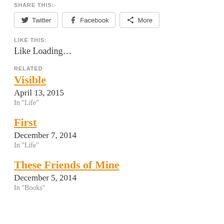SHARE THIS:
Twitter | Facebook | More
LIKE THIS:
Like Loading…
RELATED
Visible
April 13, 2015
In "Life"
First
December 7, 2014
In "Life"
These Friends of Mine
December 5, 2014
In "Books"